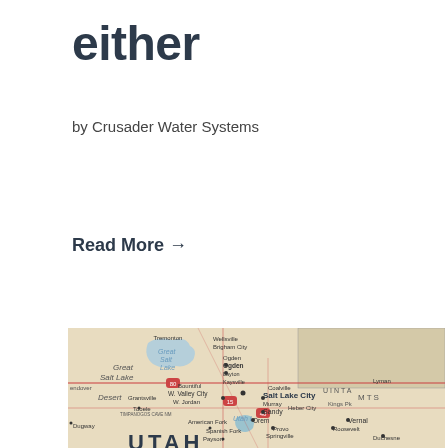either
by Crusader Water Systems
Read More →
[Figure (map): A physical road map of Utah showing Salt Lake City area with labeled cities including Great Salt Lake, Salt Lake City, Ogden, Provo, Sandy, Murray, Bountiful, W. Valley City, W. Jordan, Grantsville, Tooele, American Fork, Spanish Fork, Springville, Payson, Dugway, Coalville, Heber City, Vernal, Roosevelt, Duchesne, and geographic features like Great Salt Lake Desert, Uinta Mts, Utah Lake.]